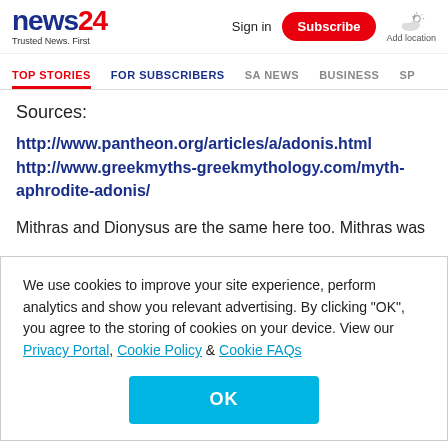news24 — Trusted News. First | Sign in | Subscribe | Add location
TOP STORIES | FOR SUBSCRIBERS | SA NEWS | BUSINESS | SP
Sources:
http://www.pantheon.org/articles/a/adonis.html
http://www.greekmyths-greekmythology.com/myth-aphrodite-adonis/
Mithras and Dionysus are the same here too. Mithras was
We use cookies to improve your site experience, perform analytics and show you relevant advertising. By clicking "OK", you agree to the storing of cookies on your device. View our Privacy Portal, Cookie Policy & Cookie FAQs
OK